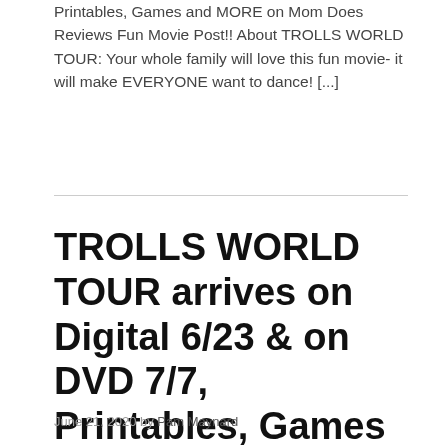Printables, Games and MORE on Mom Does Reviews Fun Movie Post!! About TROLLS WORLD TOUR: Your whole family will love this fun movie- it will make EVERYONE want to dance! [...]
TROLLS WORLD TOUR arrives on Digital 6/23 & on DVD 7/7, Printables, Games and MORE! #TrollsWorldTour
June 21, 2020 by Pam Maynard